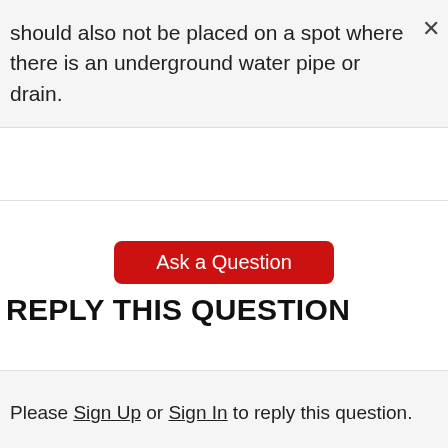should also not be placed on a spot where there is an underground water pipe or drain.
[Figure (other): Close (X) button for tooltip]
[Figure (other): Ask a Question button (red rounded rectangle)]
REPLY THIS QUESTION
Please Sign Up or Sign In to reply this question.